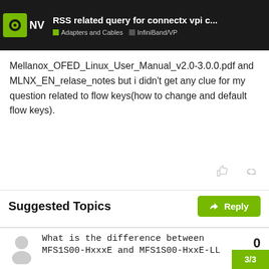RSS related query for connectx vpi c... | Adapters and Cables | InfiniBand/VP
Mellanox_OFED_Linux_User_Manual_v2.0-3.0.0.pdf and MLNX_EN_relase_notes but i didn't get any clue for my question related to flow keys(how to change and default flow keys).
Suggested Topics
Which Connect-X 5 cards works with PCIe bifurcation and SocketDirect | InfiniBand/VPI Adapt... | Jul 5 | 1
What is the difference between MFS1S00-HxxxE and MFS1S00-HxxE-LL | 0